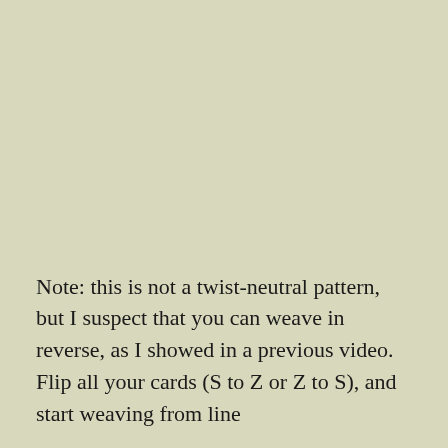Note: this is not a twist-neutral pattern, but I suspect that you can weave in reverse, as I showed in a previous video. Flip all your cards (S to Z or Z to S), and start weaving from line